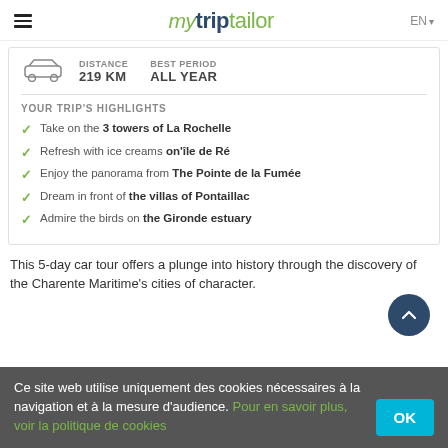mytriptailor EN
DISTANCE 219 KM  BEST PERIOD ALL YEAR
YOUR TRIP'S HIGHLIGHTS
Take on the 3 towers of La Rochelle
Refresh with ice creams on'île de Ré
Enjoy the panorama from The Pointe de la Fumée
Dream in front of the villas of Pontaillac
Admire the birds on the Gironde estuary
This 5-day car tour offers a plunge into history through the discovery of the Charente Maritime's cities of character.
Ce site web utilise uniquement des cookies nécessaires à la navigation et à la mesure d'audience. Pour en savoir plus, voir la politique de cookies